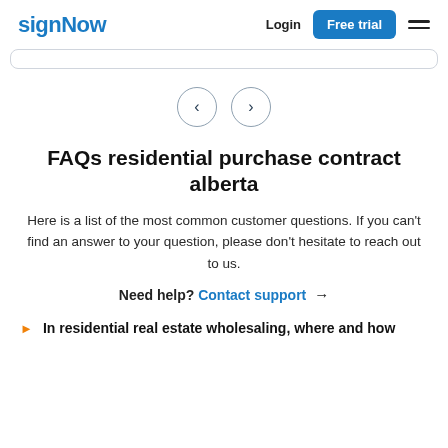signNow  Login  Free trial
[Figure (other): Navigation carousel arrows: left chevron circle and right chevron circle]
FAQs residential purchase contract alberta
Here is a list of the most common customer questions. If you can't find an answer to your question, please don't hesitate to reach out to us.
Need help? Contact support →
In residential real estate wholesaling, where and how